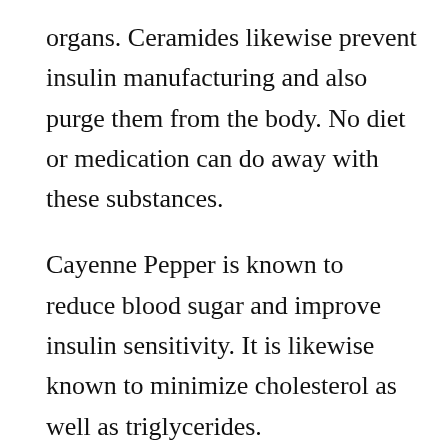organs. Ceramides likewise prevent insulin manufacturing and also purge them from the body. No diet or medication can do away with these substances.
Cayenne Pepper is known to reduce blood sugar and improve insulin sensitivity. It is likewise known to minimize cholesterol as well as triglycerides.
Glucofort is an all-natural supplement that helps in the handling of ceramides. Its formula also boosts insulin sensitivity, an essential aspect in the administration of